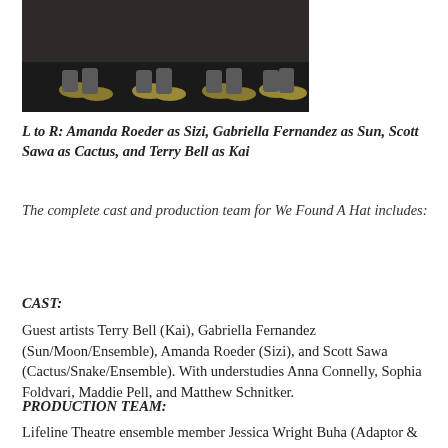[Figure (photo): Photo showing feet/shoes of performers on a dark stage floor, visible from the ankles down, wearing yellow/tan shoes.]
L to R: Amanda Roeder as Sizi, Gabriella Fernandez as Sun, Scott Sawa as Cactus, and Terry Bell as Kai
The complete cast and production team for We Found A Hat includes:
CAST:
Guest artists Terry Bell (Kai), Gabriella Fernandez (Sun/Moon/Ensemble), Amanda Roeder (Sizi), and Scott Sawa (Cactus/Snake/Ensemble). With understudies Anna Connelly, Sophia Foldvari, Maddie Pell, and Matthew Schnitker.
PRODUCTION TEAM:
Lifeline Theatre ensemble member Jessica Wright Buha (Adaptor & Co-Lyricist); with guest artists Emma Cullimore (Costume & Properties Designer), Derik Marcussen